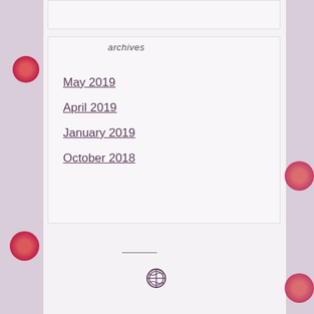archives
May 2019
April 2019
January 2019
October 2018
[Figure (logo): WordPress logo circle icon]